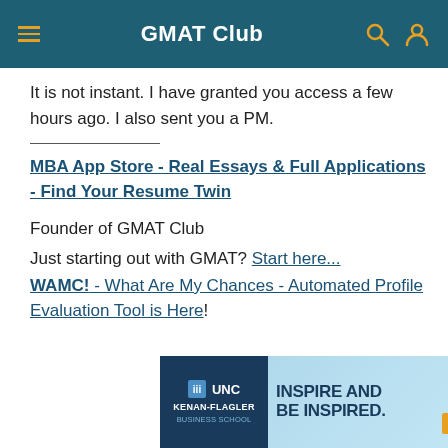GMAT Club
It is not instant. I have granted you access a few hours ago. I also sent you a PM.
MBA App Store - Real Essays & Full Applications - Find Your Resume Twin
Founder of GMAT Club
Just starting out with GMAT? Start here...
WAMC! - What Are My Chances - Automated Profile Evaluation Tool is Here!
Forum Quiz 2.0 is here!
[Figure (illustration): UNC Kenan-Flagler Business School advertisement banner: 'Inspire and Be Inspired. The Full-Time MBA. Learn More.']